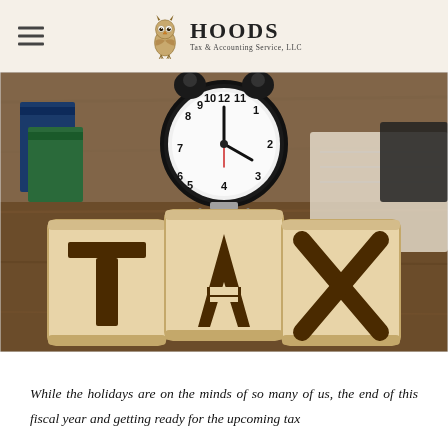HOODS Tax & Accounting Service, LLC
[Figure (photo): Photo of three wooden letter blocks spelling 'TAX' with a classic alarm clock on top, set on a wooden surface with books and papers in the background.]
While the holidays are on the minds of so many of us, the end of this fiscal year and getting ready for the upcoming tax